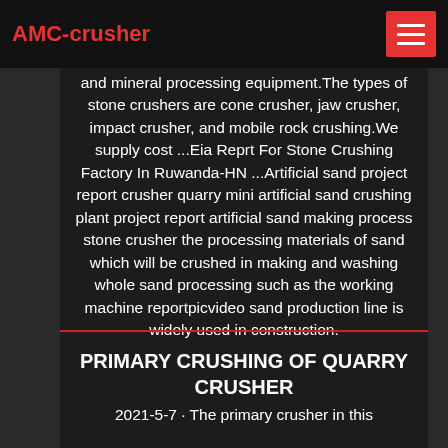AMC-crusher
and mineral processing equipment.The types of stone crushers are cone crusher, jaw crusher, impact crusher, and mobile rock crushing.We supply cost ...Eia Reprt For Stone Crushing Factory In Ruwanda-HN ...Artificial sand project report crusher quarry mini artificial sand crushing plant project report artificial sand making process stone crusher the processing materials of sand which will be crushed in making and washing whole sand processing such as the working machine reportpicvideo sand production line is widely used in construction.
PRIMARY CRUSHING OF QUARRY CRUSHER
2021-5-7 · The primary crusher in this